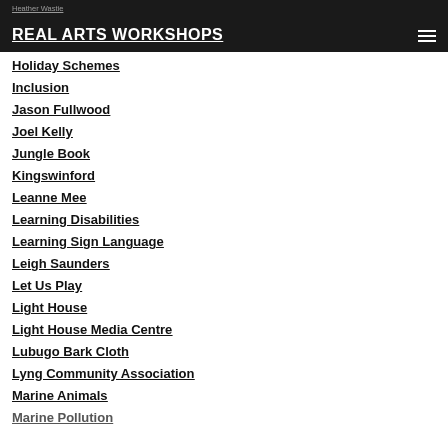REAL ARTS WORKSHOPS
Heather Wastie
Holiday Schemes
Inclusion
Jason Fullwood
Joel Kelly
Jungle Book
Kingswinford
Leanne Mee
Learning Disabilities
Learning Sign Language
Leigh Saunders
Let Us Play
Light House
Light House Media Centre
Lubugo Bark Cloth
Lyng Community Association
Marine Animals
Marine Pollution